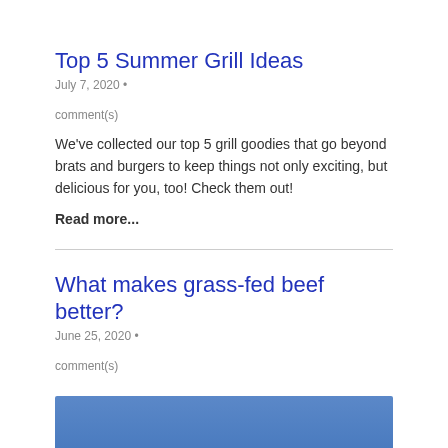Top 5 Summer Grill Ideas
July 7, 2020 •
comment(s)
We've collected our top 5 grill goodies that go beyond brats and burgers to keep things not only exciting, but delicious for you, too! Check them out!
Read more...
What makes grass-fed beef better?
June 25, 2020 •
comment(s)
[Figure (photo): Blue gradient image at the bottom of the page, partially visible]